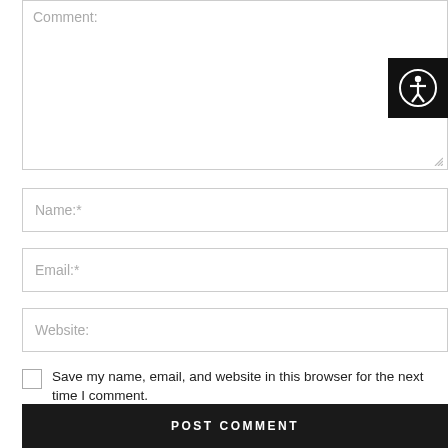Comment:
[Figure (illustration): Accessibility icon: black square with white human figure in circle]
Name:*
Email:*
Website:
Save my name, email, and website in this browser for the next time I comment.
POST COMMENT